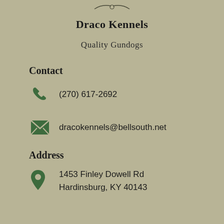Draco Kennels
Quality Gundogs
Contact
(270) 617-2692
dracokennels@bellsouth.net
Address
1453 Finley Dowell Rd
Hardinsburg, KY 40143